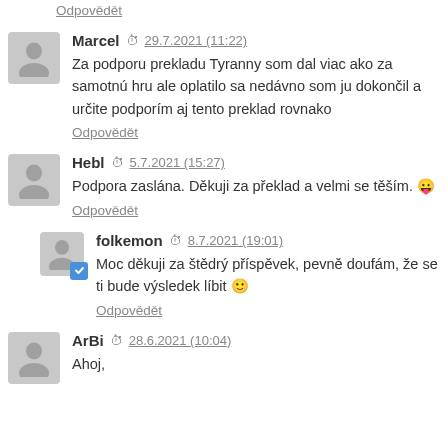Odpovědět
Marcel  29.7.2021 (11:22)
Za podporu prekladu Tyranny som dal viac ako za samotnú hru ale oplatilo sa nedávno som ju dokončil a určite podporím aj tento preklad rovnako
Odpovědět
Hebl  5.7.2021 (15:27)
Podpora zaslána. Děkuji za překlad a velmi se těším. 😛
Odpovědět
folkemon  8.7.2021 (19:01)
Moc děkuji za štědrý příspěvek, pevně doufám, že se ti bude výsledek líbit 🙂
Odpovědět
ArBi  28.6.2021 (10:04)
Ahoj,